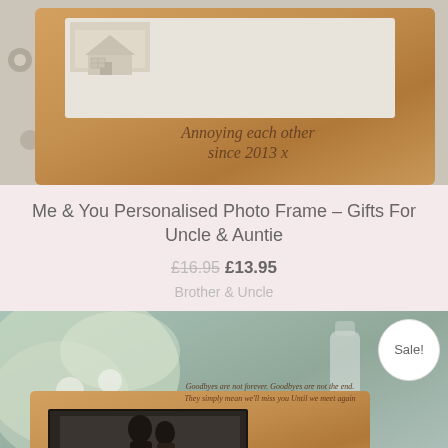[Figure (photo): Wooden photo frame with text 'Annoying each other since 2013 x' on floral background]
Me & You Personalised Photo Frame – Gifts For Uncle & Auntie
£16.95 £13.95
Brother & Uncle
[Figure (photo): Wooden photo frame with text 'Goodbyes are not forever. Goodbyes are not the end. They simply mean we'll miss you Until we meet again' with Sale! badge, flowers in background]